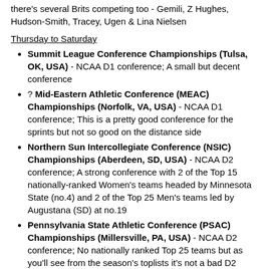there's several Brits competing too - Gemili, Z Hughes, Hudson-Smith, Tracey, Ugen & Lina Nielsen
Thursday to Saturday
Summit League Conference Championships (Tulsa, OK, USA) - NCAA D1 conference; A small but decent conference
? Mid-Eastern Athletic Conference (MEAC) Championships (Norfolk, VA, USA) - NCAA D1 conference; This is a pretty good conference for the sprints but not so good on the distance side
Northern Sun Intercollegiate Conference (NSIC) Championships (Aberdeen, SD, USA) - NCAA D2 conference; A strong conference with 2 of the Top 15 nationally-ranked Women's teams headed by Minnesota State (no.4) and 2 of the Top 25 Men's teams led by Augustana (SD) at no.19
Pennsylvania State Athletic Conference (PSAC) Championships (Millersville, PA, USA) - NCAA D2 conference; No nationally ranked Top 25 teams but as you'll see from the season's toplists it's not a bad D2 conference at all (probably mid-ranking amongst all of D2) and it's very competitive with 15 Unis including Shippensburg & Edinboro; The live stream is usually pretty good
Thursday to Sunday
Conference USA (C-USA) Championships (San Antonio,